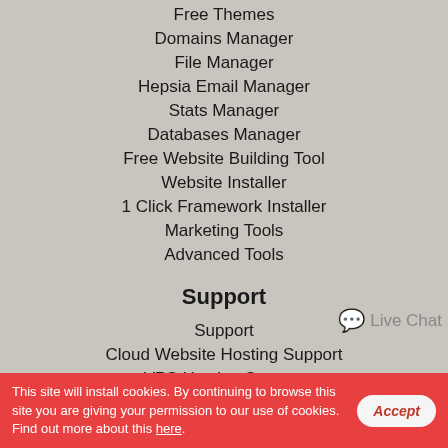Free Themes
Domains Manager
File Manager
Hepsia Email Manager
Stats Manager
Databases Manager
Free Website Building Tool
Website Installer
1 Click Framework Installer
Marketing Tools
Advanced Tools
Support
Support
Cloud Website Hosting Support
VPS Hosting Support
Semi-dedicated Hosting Support
Live Chat
This site will install cookies. By continuing to browse this site you are giving your permission to our use of cookies. Find out more about this here.